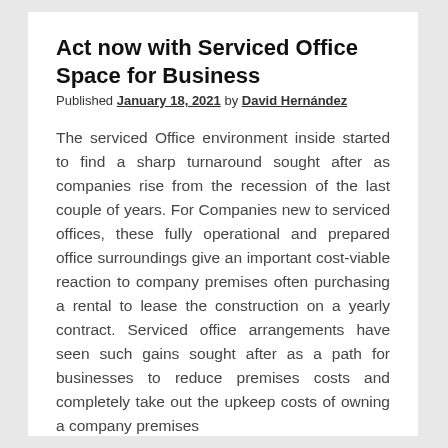Act now with Serviced Office Space for Business
Published January 18, 2021 by David Hernández
The serviced Office environment inside started to find a sharp turnaround sought after as companies rise from the recession of the last couple of years. For Companies new to serviced offices, these fully operational and prepared office surroundings give an important cost-viable reaction to company premises often purchasing a rental to lease the construction on a yearly contract. Serviced office arrangements have seen such gains sought after as a path for businesses to reduce premises costs and completely take out the upkeep costs of owning a company premises
There are various obvious advantages to using serviced office spaces for starting a business that th…